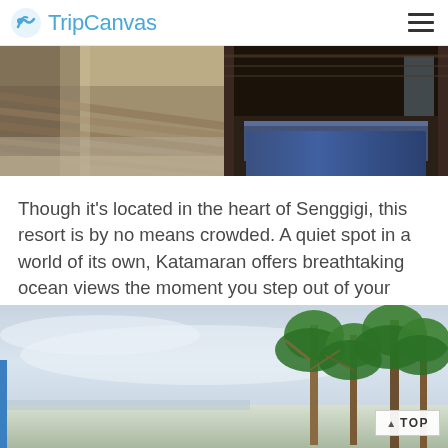TripCanvas
[Figure (photo): Two side-by-side resort photos: left shows wooden deck/pier over water with person's feet visible, right shows dark interior of bungalow with blue rug and open shutters]
Though it's located in the heart of Senggigi, this resort is by no means crowded. A quiet spot in a world of its own, Katamaran offers breathtaking ocean views the moment you step out of your private villa.
[Figure (photo): Ocean and sky view from resort with tropical trees on the right side and a 'TOP' button overlay]